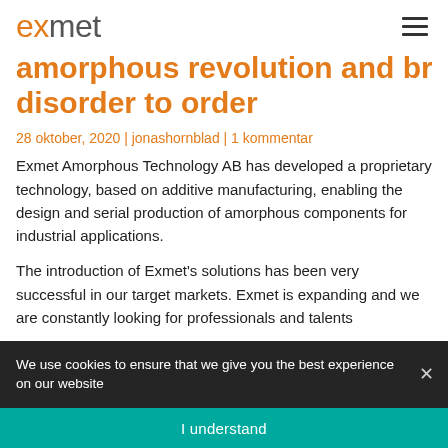exmet
amorphous revolution and bring disorder to order
28 oktober, 2020 | jonashornblad | 1 kommentar
Exmet Amorphous Technology AB has developed a proprietary technology, based on additive manufacturing, enabling the design and serial production of amorphous components for industrial applications.
The introduction of Exmet's solutions has been very successful in our target markets. Exmet is expanding and we are constantly looking for professionals and talents
We use cookies to ensure that we give you the best experience on our website
I understand